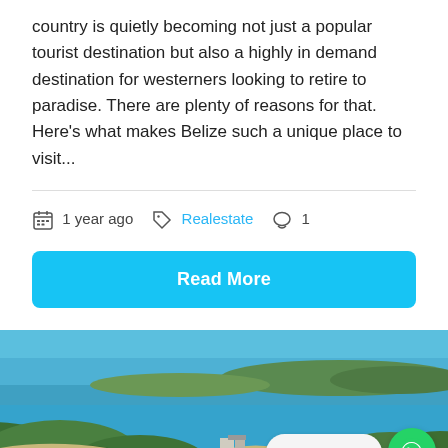country is quietly becoming not just a popular tourist destination but also a highly in demand destination for westerners looking to retire to paradise. There are plenty of reasons for that. Here's what makes Belize such a unique place to visit...
1 year ago   Realestate   1
Read More
[Figure (photo): Aerial coastal view of Belize showing blue water, sandy shores, green vegetation and a small settlement along the coast]